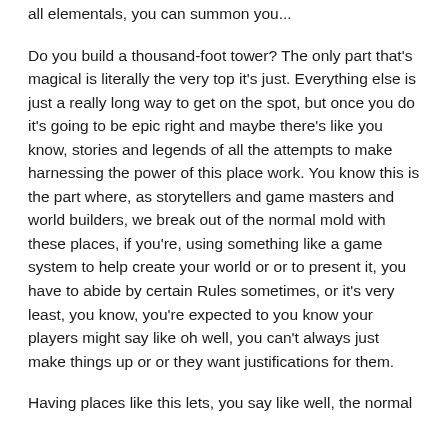all elementals, you can summon your...
Do you build a thousand-foot tower? The only part that's magical is literally the very top it's just. Everything else is just a really long way to get on the spot, but once you do it's going to be epic right and maybe there's like you know, stories and legends of all the attempts to make harnessing the power of this place work. You know this is the part where, as storytellers and game masters and world builders, we break out of the normal mold with these places, if you're, using something like a game system to help create your world or or to present it, you have to abide by certain Rules sometimes, or it's very least, you know, you're expected to you know your players might say like oh well, you can't always just make things up or or they want justifications for them.
Having places like this lets, you say like well, the normal...